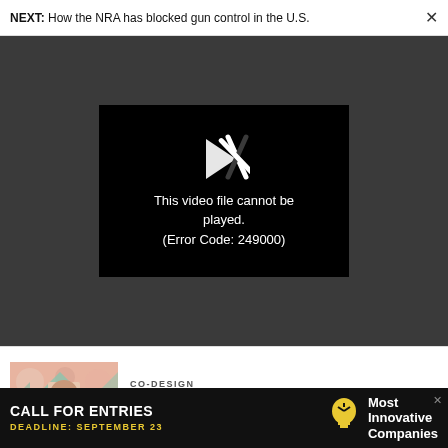NEXT: How the NRA has blocked gun control in the U.S.  ×
[Figure (screenshot): Video player showing error message: This video file cannot be played. (Error Code: 249000)]
CO-DESIGN
Zuckerberg's cringe metaverse avatar has been immortalized on Snapchat
[Figure (photo): Thumbnail image of article showing a person with glasses surrounded by a colorful kaleidoscopic pattern]
[Figure (infographic): Advertisement: CALL FOR ENTRIES  DEADLINE: SEPTEMBER 23  Most Innovative Companies]